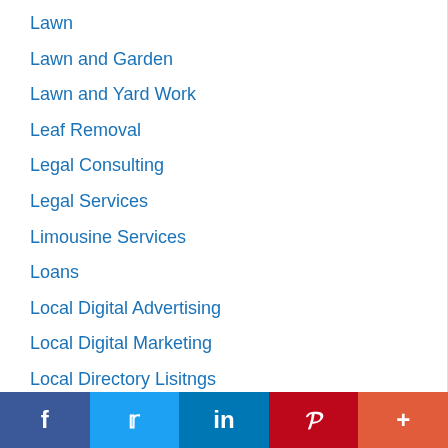Lawn
Lawn and Garden
Lawn and Yard Work
Leaf Removal
Legal Consulting
Legal Services
Limousine Services
Loans
Local Digital Advertising
Local Digital Marketing
Local Directory Lisitngs
Local Mobile Advertising
Local Promotions
Locksmiths
f  [Twitter]  in  [Pinterest]  +